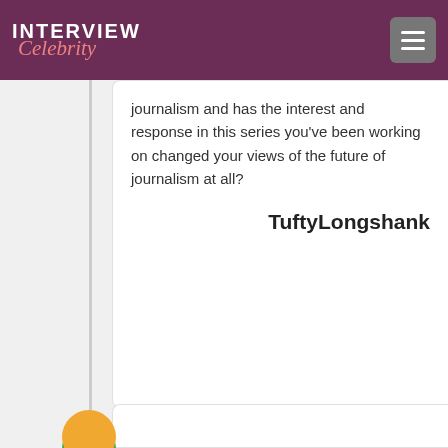INTERVIEW Celebrity
journalism and has the interest and response in this series you've been working on changed your views of the future of journalism at all?
TuftyLongshank
No. In fact I have had politicians compliment us for breaking this open.
We've heard from many people who appreciate the time we've put into this and I hope that translates into more support for investigative journalism overall. The Globe is incredibly supportive.
Kathy Tomlinson